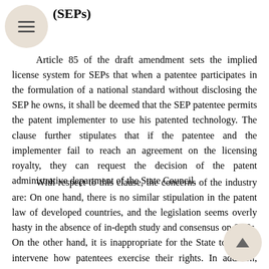(SEPs)
Article 85 of the draft amendment sets the implied license system for SEPs that when a patentee participates in the formulation of a national standard without disclosing the SEP he owns, it shall be deemed that the SEP patentee permits the patent implementer to use his patented technology. The clause further stipulates that if the patentee and the implementer fail to reach an agreement on the licensing royalty, they can request the decision of the patent administrative department of the State Council.
With respect to this clause, the concerns of the industry are: On one hand, there is no similar stipulation in the patent law of developed countries, and the legislation seems overly hasty in the absence of in-depth study and consensus on SEPs. On the other hand, it is inappropriate for the State to unduly intervene how patentees exercise their rights. In addition, licensing royalty disputes are